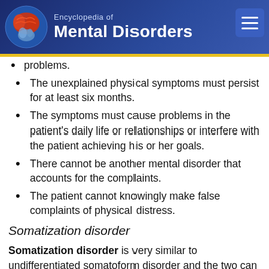Encyclopedia of Mental Disorders
problems.
The unexplained physical symptoms must persist for at least six months.
The symptoms must cause problems in the patient's daily life or relationships or interfere with the patient achieving his or her goals.
There cannot be another mental disorder that accounts for the complaints.
The patient cannot knowingly make false complaints of physical distress.
Somatization disorder
Somatization disorder is very similar to undifferentiated somatoform disorder and the two can be easily confused. The symptoms are the same, but the diagnostic criteria are much more specific for somatization disorder. To be diagnosed with somatization disorder, the patient must have four different pain symptoms, two gastrointestinal symptoms, one sexual